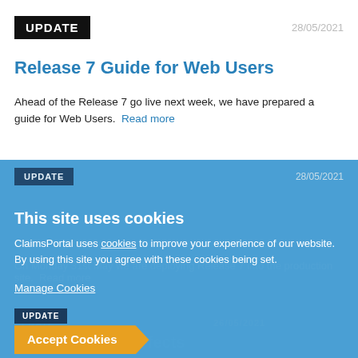UPDATE  28/05/2021
Release 7 Guide for Web Users
Ahead of the Release 7 go live next week, we have prepared a guide for Web Users. Read more
UPDATE  28/05/2021
Attention A2A Users - Release 7 Deployment
On Monday 31st May we are deploying Release 7 into the production site.  Read more
This site uses cookies
ClaimsPortal uses cookies to improve your experience of our website. By using this site you agree with these cookies being set.
Manage Cookies
UPDATE  26/05/2021
Release 7 Update - Defects
Accept Cookies